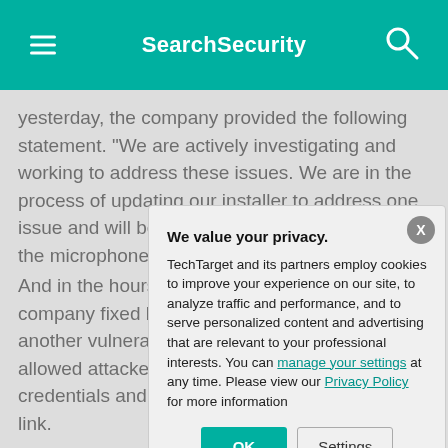SearchSecurity
yesterday, the company provided the following statement. "We are actively investigating and working to address these issues. We are in the process of updating our installer to address one issue and will be updating our client to mitigate the microphone and camera issue."
And in the hours [partially obscured] company fixed b[partially obscured] another vulnerab[partially obscured] allowed attacker[partially obscured] credentials and [partially obscured] link.
In a public mess[partially obscured] Eric Yuan said t[partially obscured] resources neede[partially obscured]
[Figure (screenshot): Privacy consent modal dialog with title 'We value your privacy.' and buttons OK and Settings, overlaying the article content. Contains text about TechTarget cookies policy with links to manage your settings and Privacy Policy.]